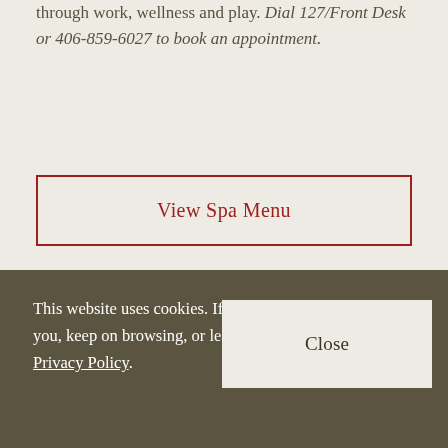through work, wellness and play. Dial 127/Front Desk or 406-859-6027 to book an appointment.
View Spa Menu
This website uses cookies. If that's okay with you, keep on browsing, or learn more about our Privacy Policy.
Close